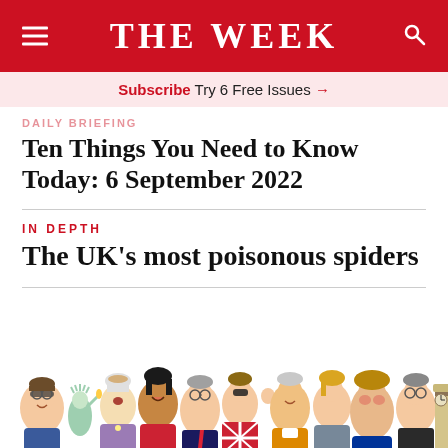THE WEEK
Subscribe Try 6 Free Issues →
DAILY BRIEFING
Ten Things You Need to Know Today: 6 September 2022
IN DEPTH
The UK's most poisonous spiders
[Figure (illustration): Colorful caricature illustration of multiple world figures and politicians crowded together, including figures resembling global leaders and celebrities in cartoon style]